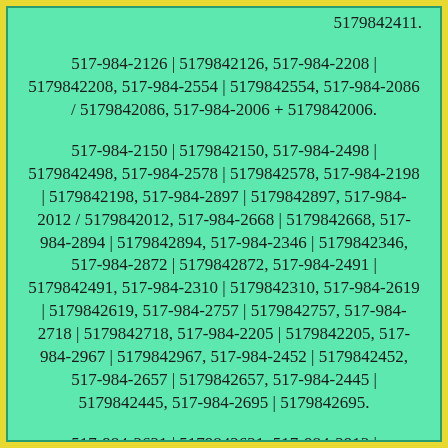5179842411.
517-984-2126 | 5179842126, 517-984-2208 | 5179842208, 517-984-2554 | 5179842554, 517-984-2086 / 5179842086, 517-984-2006 + 5179842006.
517-984-2150 | 5179842150, 517-984-2498 | 5179842498, 517-984-2578 | 5179842578, 517-984-2198 | 5179842198, 517-984-2897 | 5179842897, 517-984-2012 / 5179842012, 517-984-2668 | 5179842668, 517-984-2894 | 5179842894, 517-984-2346 | 5179842346, 517-984-2872 | 5179842872, 517-984-2491 | 5179842491, 517-984-2310 | 5179842310, 517-984-2619 | 5179842619, 517-984-2757 | 5179842757, 517-984-2718 | 5179842718, 517-984-2205 | 5179842205, 517-984-2967 | 5179842967, 517-984-2452 | 5179842452, 517-984-2657 | 5179842657, 517-984-2445 | 5179842445, 517-984-2695 | 5179842695.
517-984-2621 | 5179842621, 517-984-2913 | 5179842913, 517-984-2744 | 5179842744, 517-984-2597 | 5179842597, 517-984-2526 |